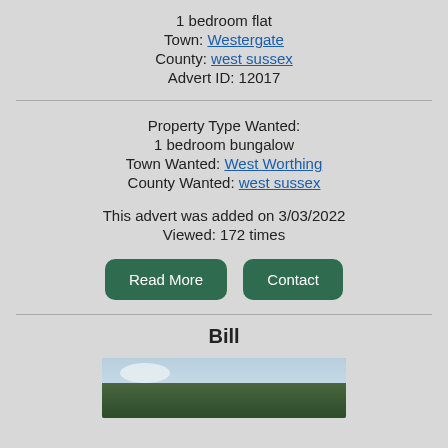1 bedroom flat
Town: Westergate
County: west sussex
Advert ID: 12017
Property Type Wanted:
1 bedroom bungalow
Town Wanted: West Worthing
County Wanted: west sussex
This advert was added on 3/03/2022
Viewed: 172 times
Read More   Contact
Bill
[Figure (photo): Outdoor photo showing trees and sky]